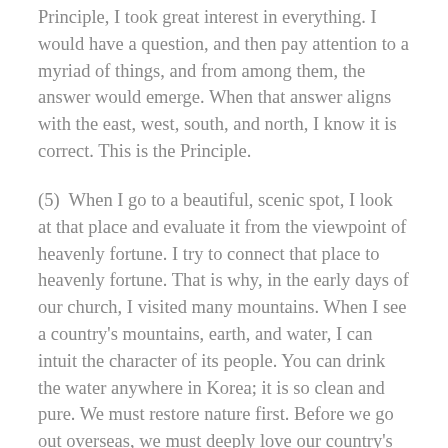Principle, I took great interest in everything. I would have a question, and then pay attention to a myriad of things, and from among them, the answer would emerge. When that answer aligns with the east, west, south, and north, I know it is correct. This is the Principle.
(5)  When I go to a beautiful, scenic spot, I look at that place and evaluate it from the viewpoint of heavenly fortune. I try to connect that place to heavenly fortune. That is why, in the early days of our church, I visited many mountains. When I see a country's mountains, earth, and water, I can intuit the character of its people. You can drink the water anywhere in Korea; it is so clean and pure. We must restore nature first. Before we go out overseas, we must deeply love our country's natural environment. The one who knows how to love the land where he was born knows how to